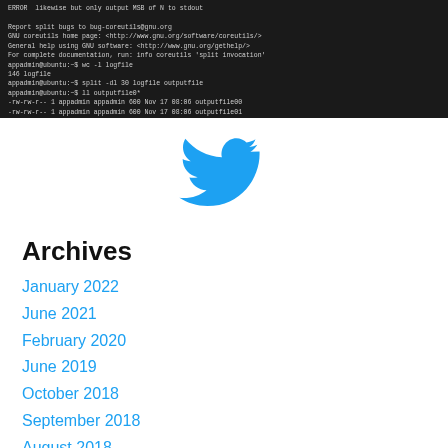[Figure (screenshot): Terminal/command line screenshot showing Linux split command usage and output, dark background with light monospace text]
[Figure (logo): Twitter bird logo in blue]
Archives
January 2022
June 2021
February 2020
June 2019
October 2018
September 2018
August 2018